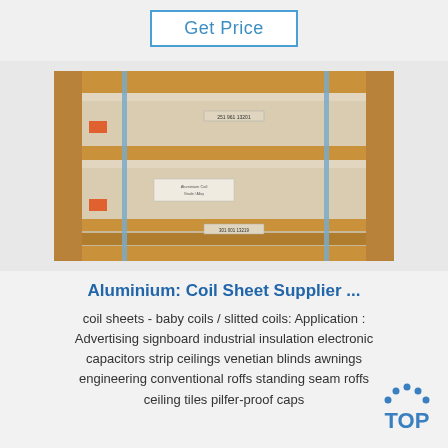Get Price
[Figure (photo): Stacked aluminium coil sheets wrapped in protective plastic film, bound with metal straps, resting on wooden pallets in a warehouse]
Aluminium: Coil Sheet Supplier ...
coil sheets - baby coils / slitted coils: Application : Advertising signboard industrial insulation electronic capacitors strip ceilings venetian blinds awnings engineering conventional roffs standing seam roffs ceiling tiles pilfer-proof caps
[Figure (logo): TOP logo with blue dotted arc above text]